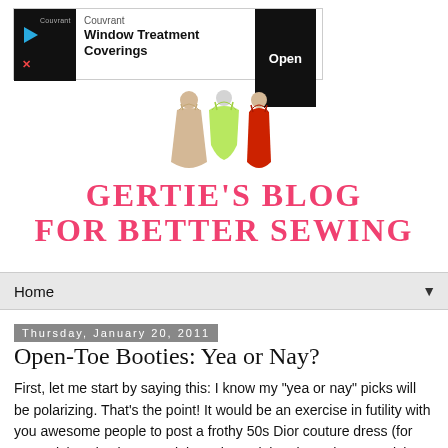[Figure (screenshot): Advertisement banner for Couvrant Window Treatment Coverings with Open button]
[Figure (illustration): Three dress illustrations (beige, green, red) serving as blog logo icons]
GERTIE'S BLOG FOR BETTER SEWING
Home
Thursday, January 20, 2011
Open-Toe Booties: Yea or Nay?
First, let me start by saying this: I know my "yea or nay" picks will be polarizing. That's the point! It would be an exercise in futility with you awesome people to post a frothy 50s Dior couture dress (for example) and ask your opinion. That's right, I know how you tick! Instead, I usually post